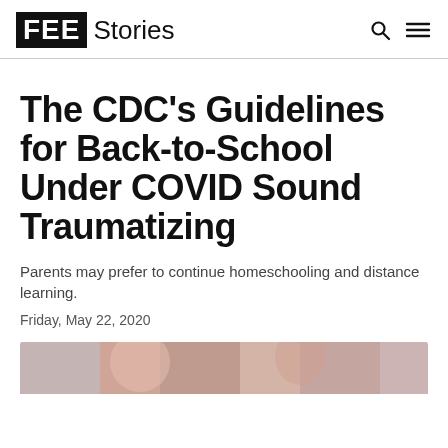FEE Stories
The CDC's Guidelines for Back-to-School Under COVID Sound Traumatizing
Parents may prefer to continue homeschooling and distance learning.
Friday, May 22, 2020
[Figure (photo): Partial view of a photo, likely showing children or a school-related image, cropped at the bottom of the page.]